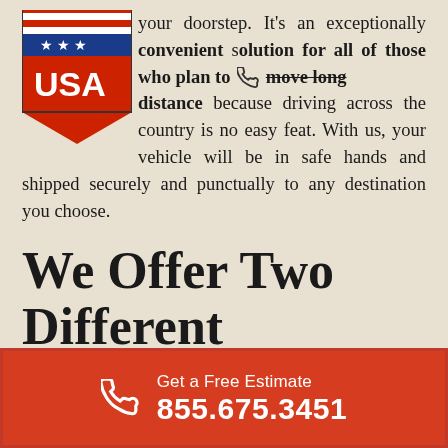[Figure (logo): USA shield logo with red, white and blue colors, stars and stripes]
your doorstep. It's an exceptionally convenient solution for all of those who plan to move long distance because driving across the country is no easy feat. With us, your vehicle will be in safe hands and shipped securely and punctually to any destination you choose.
We Offer Two Different Transportation
Get a Free Estimate 855.675.3451